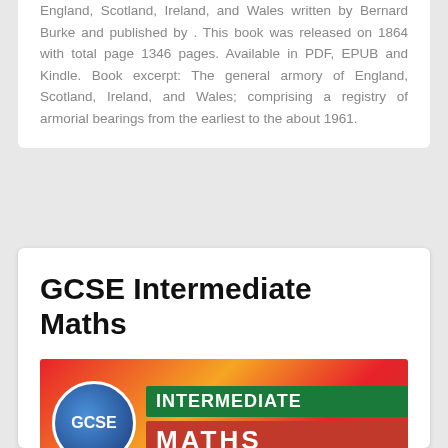England, Scotland, Ireland, and Wales written by Bernard Burke and published by . This book was released on 1864 with total page 1346 pages. Available in PDF, EPUB and Kindle. Book excerpt: The general armory of England, Scotland, Ireland, and Wales; comprising a registry of armorial bearings from the earliest to the about 1961.
GCSE Intermediate Maths
[Figure (photo): Book cover of GCSE Intermediate Maths showing a colorful red/orange background with a blue GCSE circular badge on the left, a green banner reading INTERMEDIATE and a red banner showing MATHS in large letters.]